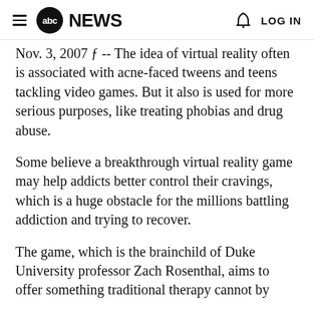abc NEWS  LOG IN
Nov. 3, 2007 &#131; -- The idea of virtual reality often is associated with acne-faced tweens and teens tackling video games. But it also is used for more serious purposes, like treating phobias and drug abuse.
Some believe a breakthrough virtual reality game may help addicts better control their cravings, which is a huge obstacle for the millions battling addiction and trying to recover.
The game, which is the brainchild of Duke University professor Zach Rosenthal, aims to offer something traditional therapy cannot by